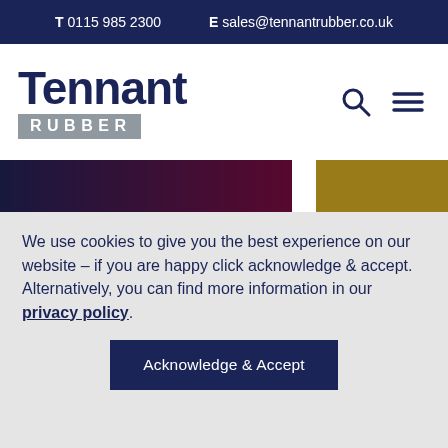T 0115 985 2300   E sales@tennantrubber.co.uk
[Figure (logo): Tennant Rubber company logo with search and hamburger menu icons]
[Figure (illustration): Decorative color bar with dark navy-to-burgundy gradient on the left and gold on the right]
We use cookies to give you the best experience on our website – if you are happy click acknowledge & accept. Alternatively, you can find more information in our privacy policy.
Acknowledge & Accept